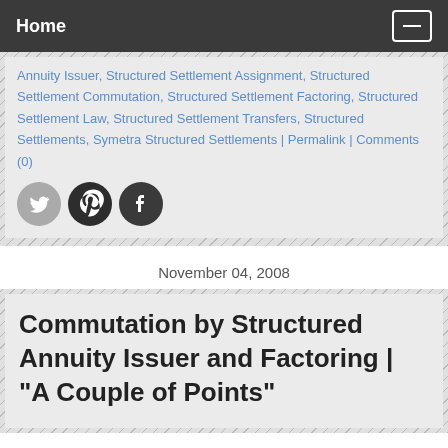Home
Annuity Issuer, Structured Settlement Assignment, Structured Settlement Commutation, Structured Settlement Factoring, Structured Settlement Law, Structured Settlement Transfers, Structured Settlements, Symetra Structured Settlements | Permalink | Comments (0)
[Figure (other): Social sharing icons: Twitter, Pinterest, Facebook]
November 04, 2008
Commutation by Structured Annuity Issuer and Factoring | "A Couple of Points"